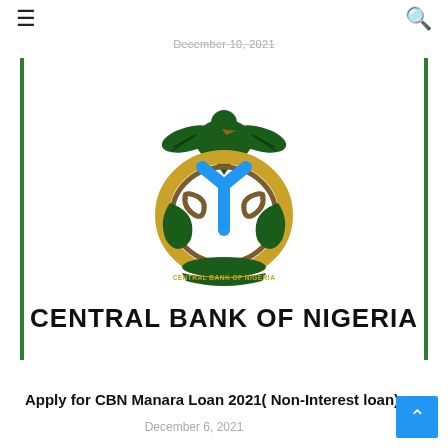≡  🔍
December 10, 2021
[Figure (logo): Central Bank of Nigeria official logo: green eagle atop a circular emblem with gold/brown rings, blue Y-shape, green hands, and banner reading CENTRAL BANK OF NIGERIA]
Apply for CBN Manara Loan 2021( Non-Interest loan)
December 6, 2021